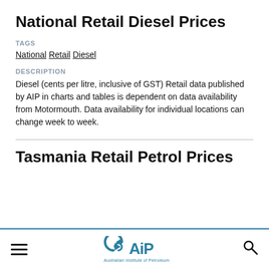National Retail Diesel Prices
TAGS
National Retail Diesel
DESCRIPTION
Diesel (cents per litre, inclusive of GST) Retail data published by AIP in charts and tables is dependent on data availability from Motormouth. Data availability for individual locations can change week to week.
Tasmania Retail Petrol Prices
[Figure (logo): Australian Institute of Petroleum (AIP) logo with stylized circular arrows and AIP text]
Australian Institute of Petroleum